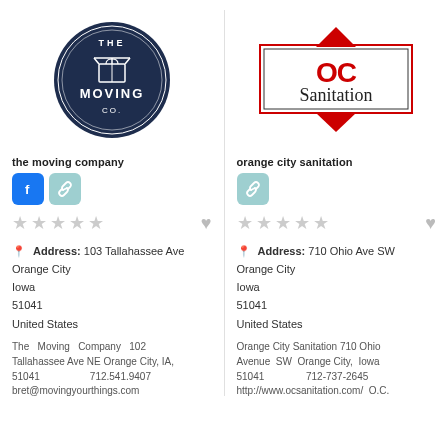[Figure (logo): The Moving Company circular navy blue logo with box icon]
[Figure (logo): OC Sanitation diamond/rectangle logo with red and black text]
the moving company
orange city sanitation
Address: 103 Tallahassee Ave Orange City Iowa 51041 United States
Address: 710 Ohio Ave SW Orange City Iowa 51041 United States
The Moving Company 102 Tallahassee Ave NE Orange City, IA, 51041  712.541.9407
bret@movingyourthings.com
Orange City Sanitation 710 Ohio Avenue SW Orange City, Iowa 51041  712-737-2645
http://www.ocsanitation.com/  O.C.